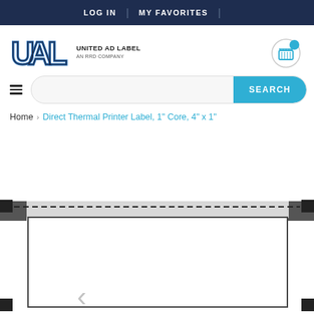LOG IN | MY FAVORITES |
[Figure (logo): UAL - United Ad Label, An RRD Company logo with stylized UAL letters in blue]
[Figure (illustration): Shopping cart icon with blue circle badge indicator]
SEARCH
Home > Direct Thermal Printer Label, 1" Core, 4" x 1"
[Figure (engineering-diagram): Direct Thermal Printer Label product diagram showing a rectangular label with dashed border line and black corner marks, partially visible with a left navigation arrow]